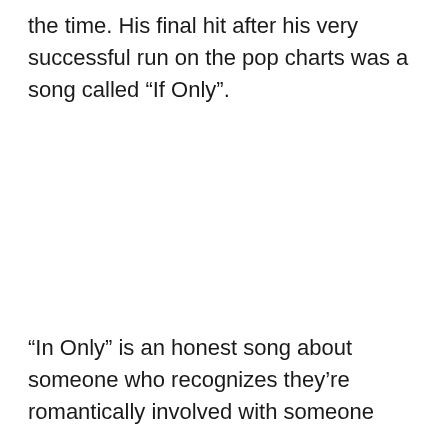the time. His final hit after his very successful run on the pop charts was a song called “If Only”.
“In Only” is an honest song about someone who recognizes they’re romantically involved with someone